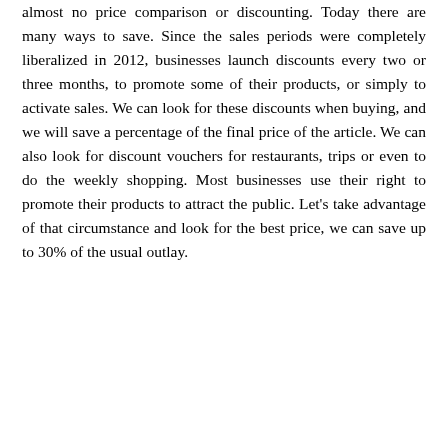almost no price comparison or discounting. Today there are many ways to save. Since the sales periods were completely liberalized in 2012, businesses launch discounts every two or three months, to promote some of their products, or simply to activate sales. We can look for these discounts when buying, and we will save a percentage of the final price of the article. We can also look for discount vouchers for restaurants, trips or even to do the weekly shopping. Most businesses use their right to promote their products to attract the public. Let’s take advantage of that circumstance and look for the best price, we can save up to 30% of the usual outlay.